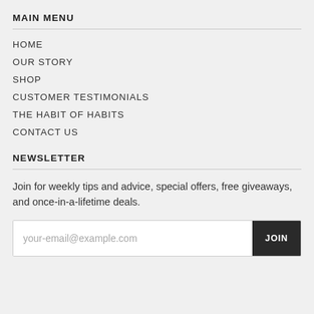MAIN MENU
HOME
OUR STORY
SHOP
CUSTOMER TESTIMONIALS
THE HABIT OF HABITS
CONTACT US
NEWSLETTER
Join for weekly tips and advice, special offers, free giveaways, and once-in-a-lifetime deals.